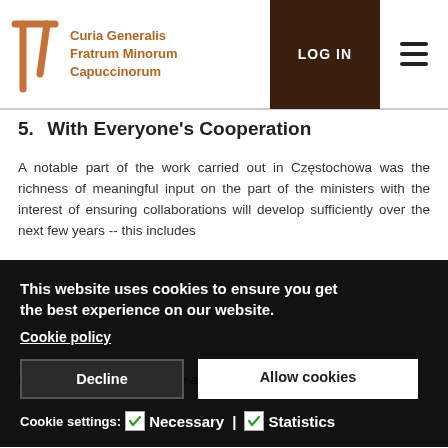Curia Generalis Fratrum Minorum Capuccinorum | LOG IN
5. With Everyone's Cooperation
A notable part of the work carried out in Częstochowa was the richness of meaningful input on the part of the ministers with the interest of ensuring collaborations will develop sufficiently over the next few years -- this includes those ...ation ...e St. ...t and ...t the ...ersal ...g up ...offer ...here ...rally, for all of these initiatives, we ask the willingness and
This website uses cookies to ensure you get the best experience on our website. Cookie policy
for all of these initiatives, we ask the willingness and